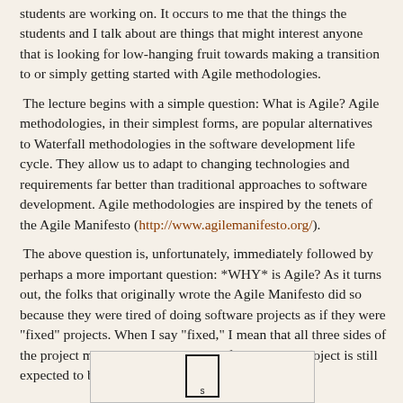students are working on. It occurs to me that the things the students and I talk about are things that might interest anyone that is looking for low-hanging fruit towards making a transition to or simply getting started with Agile methodologies.
The lecture begins with a simple question: What is Agile? Agile methodologies, in their simplest forms, are popular alternatives to Waterfall methodologies in the software development life cycle. They allow us to adapt to changing technologies and requirements far better than traditional approaches to software development. Agile methodologies are inspired by the tenets of the Agile Manifesto (http://www.agilemanifesto.org/).
The above question is, unfortunately, immediately followed by perhaps a more important question: *WHY* is Agile? As it turns out, the folks that originally wrote the Agile Manifesto did so because they were tired of doing software projects as if they were "fixed" projects. When I say "fixed," I mean that all three sides of the project management pyramid are fixed but the project is still expected to be successful.
[Figure (schematic): Partial view of a diagram, appears to be the top of a triangle/pyramid shape with a label 'S' at the bottom]